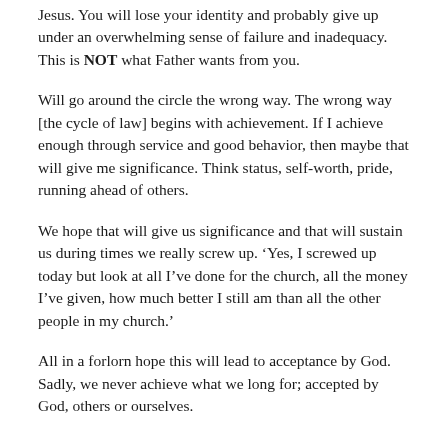Jesus. You will lose your identity and probably give up under an overwhelming sense of failure and inadequacy. This is NOT what Father wants from you.
Will go around the circle the wrong way. The wrong way [the cycle of law] begins with achievement. If I achieve enough through service and good behavior, then maybe that will give me significance. Think status, self-worth, pride, running ahead of others.
We hope that will give us significance and that will sustain us during times we really screw up. ‘Yes, I screwed up today but look at all I’ve done for the church, all the money I’ve given, how much better I still am than all the other people in my church.’
All in a forlorn hope this will lead to acceptance by God. Sadly, we never achieve what we long for; accepted by God, others or ourselves.